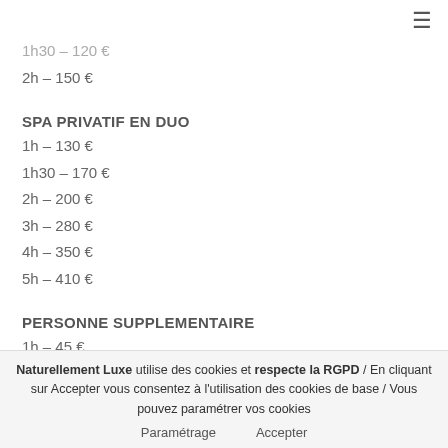1h30 – 120 €
2h – 150 €
SPA PRIVATIF EN DUO
1h – 130 €
1h30 – 170 €
2h – 200 €
3h – 280 €
4h – 350 €
5h – 410 €
PERSONNE SUPPLEMENTAIRE
1h – 45 €
Naturellement Luxe utilise des cookies et respecte la RGPD / En cliquant sur Accepter vous consentez à l'utilisation des cookies de base / Vous pouvez paramétrer vos cookies
Paramétrage    Accepter